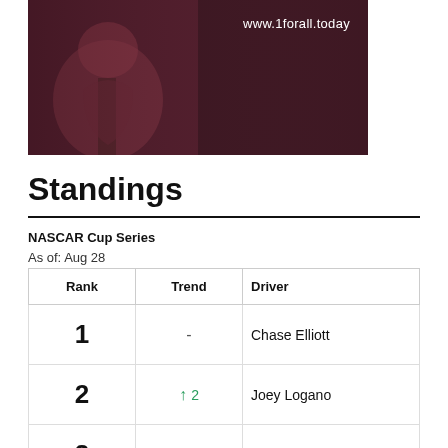[Figure (photo): Advertisement banner with guitar player silhouette and URL www.1forall.today on dark red/pink tinted background]
Standings
NASCAR Cup Series
As of: Aug 28
| Rank | Trend | Driver |
| --- | --- | --- |
| 1 | - | Chase Elliott |
| 2 | ↑ 2 | Joey Logano |
| 3 | ↑ 2 | Ross Chastain |
| 4 |  |  |